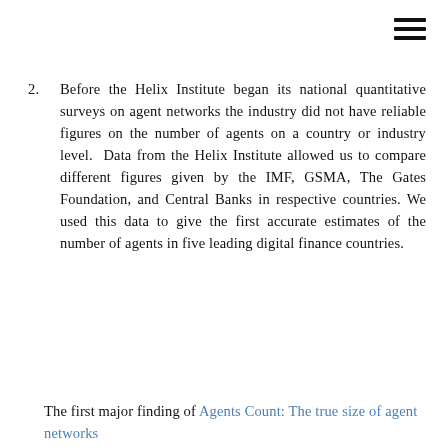2. Before the Helix Institute began its national quantitative surveys on agent networks the industry did not have reliable figures on the number of agents on a country or industry level. Data from the Helix Institute allowed us to compare different figures given by the IMF, GSMA, The Gates Foundation, and Central Banks in respective countries. We used this data to give the first accurate estimates of the number of agents in five leading digital finance countries.
The first major finding of Agents Count: The true size of agent networks